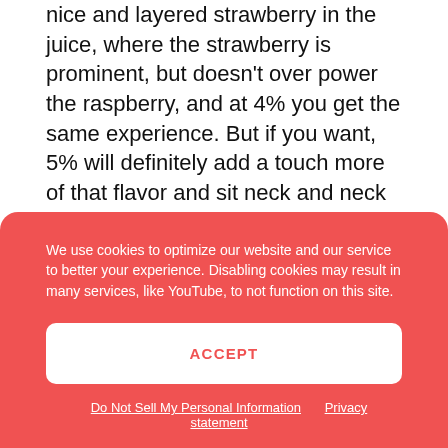nice and layered strawberry in the juice, where the strawberry is prominent, but doesn't over power the raspberry, and at 4% you get the same experience. But if you want, 5% will definitely add a touch more of that flavor and sit neck and neck with the boysenberry. This flavoring cannot be substituted nor omitted and is a major component to the taste of the recipe. If you don't have Shisha Strawberry, you don't have MISTY...unfortunately.
We use cookies to optimize our website and our service to better your experience. Disabling cookies may result in many services, like YouTube, to not function on this site.
ACCEPT
Do Not Sell My Personal Information   Privacy statement